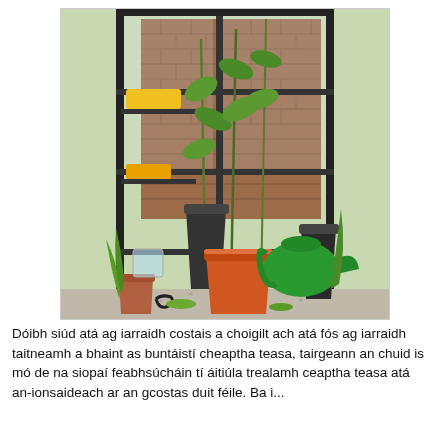[Figure (photo): A small lean-to greenhouse with a black metal frame and clear plastic sheeting. Inside are tall tomato plants in black pots, an orange plastic bucket, a green watering can, terracotta pots, yellow trays on shelves, and various gardening items on a gravel floor. A brick wall is visible in the background.]
Dóibh siúd atá ag iarraidh costais a choigilt ach atá fós ag iarraidh taitneamh a bhaint as buntáistí cheaptha teasa, tairgeann an chuid is mó de na siopaí feabhsúcháin tí áitiúla trealamh ceaptha teasa atá an-ionsaideach ar an gcostas duit féile. Ba i...